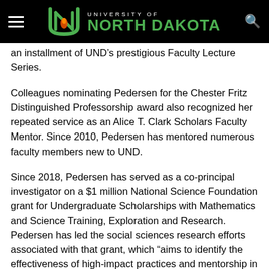University of North Dakota
an installment of UND’s prestigious Faculty Lecture Series.
Colleagues nominating Pedersen for the Chester Fritz Distinguished Professorship award also recognized her repeated service as an Alice T. Clark Scholars Faculty Mentor. Since 2010, Pedersen has mentored numerous faculty members new to UND.
Since 2018, Pedersen has served as a co-principal investigator on a $1 million National Science Foundation grant for Undergraduate Scholarships with Mathematics and Science Training, Exploration and Research. Pedersen has led the social sciences research efforts associated with that grant, which “aims to identify the effectiveness of high-impact practices and mentorship in